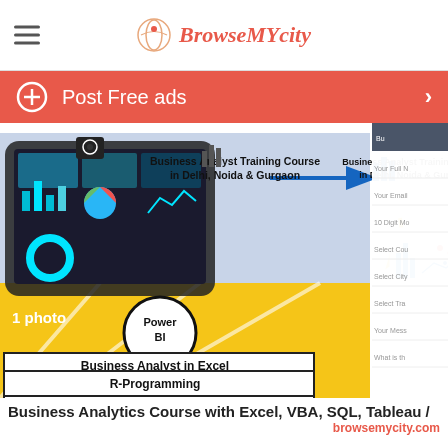BrowseMYcity
Post Free ads
[Figure (screenshot): Business Analyst Training Course in Delhi, Noida & Gurgaon - promotional infographic showing tablet with charts, Power BI, Business Analyst in Excel, MS Power BI, R-Programming labels, and Business Intelligence hexagon diagram]
Business Analytics Course with Excel, VBA, SQL, Tableau /
browsemycity.com